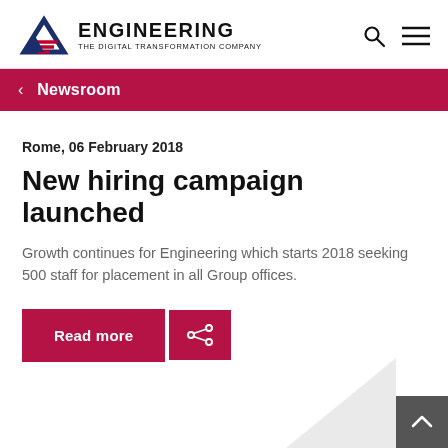ENGINEERING THE DIGITAL TRANSFORMATION COMPANY
Newsroom
Rome, 06 February 2018
New hiring campaign launched
Growth continues for Engineering which starts 2018 seeking 500 staff for placement in all Group offices.